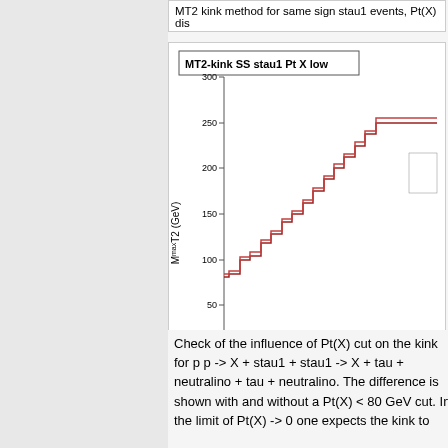MT2 kink method for same sign stau1 events, Pt(X) dis
[Figure (continuous-plot): Step-function scatter plot showing M_T2^max (GeV) on y-axis (0 to 300+) vs x-axis (0 to 200+). Two overlapping staircase lines (dark red/brown) rising from ~80 GeV at x=0 upward in steps to ~260 GeV at x=200+. The plot shows the MT2 kink method for same sign stau1 events.]
MT2 kink method for same sign stau1 events
Check of the influence of Pt(X) cut on the kink for p p -> X + stau1 + stau1 -> X + tau + neutralino + tau + neutralino. The difference is shown with and without a Pt(X) < 80 GeV cut. In the limit of Pt(X) -> 0 one expects the kink to